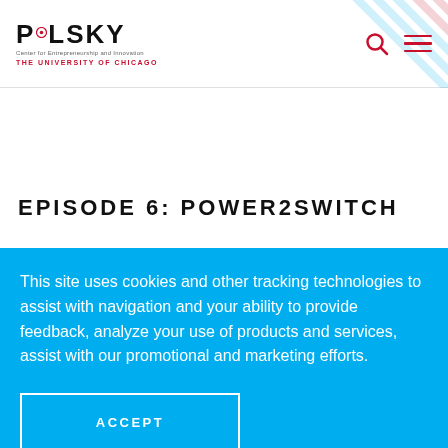POLSKY — Center for Entrepreneurship and Innovation — THE UNIVERSITY OF CHICAGO
EPISODE 6: POWER2SWITCH
This site uses cookies and other tracking technologies to assist with navigation and your ability to provide feedback, analyze your use of products and services, assist with our promotional and marketing efforts.
ACCEPT